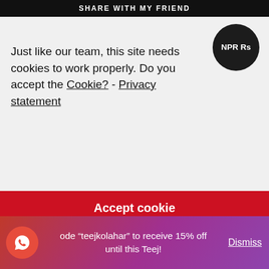SHARE WITH MY FRIEND
[Figure (infographic): Dark circle badge with text NPR Rs]
Just like our team, this site needs cookies to work properly. Do you accept the Cookie? - Privacy statement
Accept cookie
RECYCLE MY WASTE
SHOP
MEN'S SUNGLASSES
WOMEN'S SUNGLASSES
ode “teejkolahar” to receive 15% off until this Teej!  Dismiss